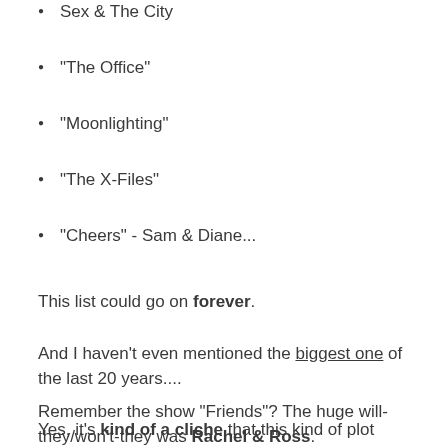Sex & The City
"The Office"
"Moonlighting"
"The X-Files"
"Cheers" - Sam & Diane...
This list could go on forever.
And I haven't even mentioned the biggest one of the last 20 years....
Remember the show "Friends"? The huge will-they/won't-they was Rachel & Ross.
Yes, it's kind of a cliche that this kind of plot device is a